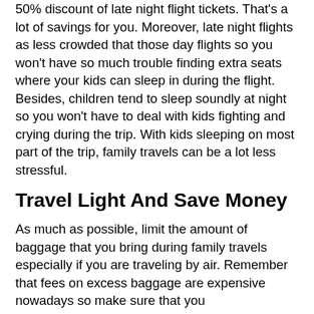50% discount of late night flight tickets. That's a lot of savings for you. Moreover, late night flights as less crowded that those day flights so you won't have so much trouble finding extra seats where your kids can sleep in during the flight. Besides, children tend to sleep soundly at night so you won't have to deal with kids fighting and crying during the trip. With kids sleeping on most part of the trip, family travels can be a lot less stressful.
Travel Light And Save Money
As much as possible, limit the amount of baggage that you bring during family travels especially if you are traveling by air. Remember that fees on excess baggage are expensive nowadays so make sure that you